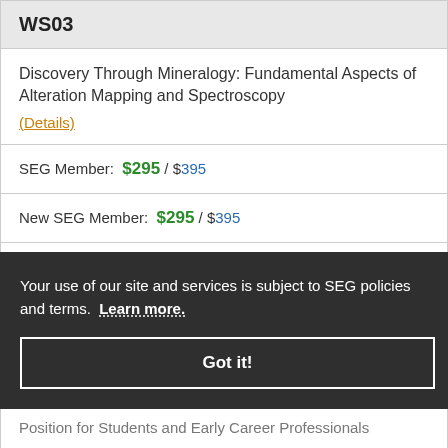WS03
Discovery Through Mineralogy: Fundamental Aspects of Alteration Mapping and Spectroscopy
(Details)
SEG Member:  $295 / $395
New SEG Member:  $295 / $395
Non-member:  $395 / $495
Your use of our site and services is subject to SEG policies and terms.  Learn more.
Got it!
Position for Students and Early Career Professionals (Details)